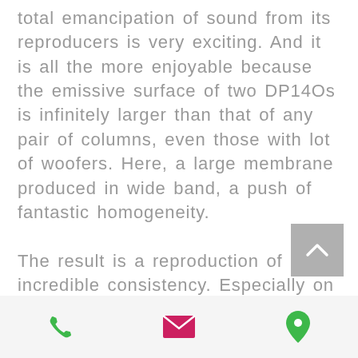total emancipation of sound from its reproducers is very exciting. And it is all the more enjoyable because the emissive surface of two DP14Os is infinitely larger than that of any pair of columns, even those with lot of woofers. Here, a large membrane produced in wide band, a push of fantastic homogeneity.

The result is a reproduction of incredible consistency. Especially on acoustic music.
[Figure (other): Gray scroll-to-top button with upward chevron arrow]
[Figure (other): Bottom navigation bar with phone icon (green), email icon (pink/red), and location pin icon (green)]